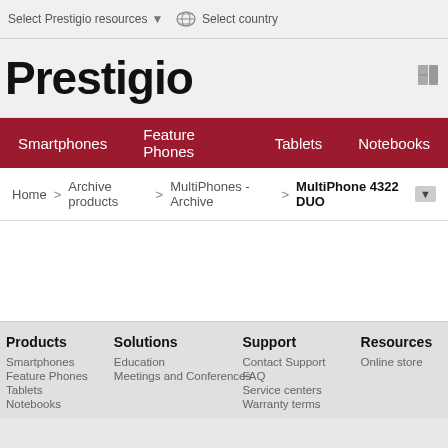Select Prestigio resources ▾   🌐 Select country
Prestigio
Smartphones  Feature Phones  Tablets  Notebooks
Home > Archive products > MultiPhones - Archive > MultiPhone 4322 DUO ▾
Products
Smartphones
Feature Phones
Tablets
Notebooks
Solutions
Education
Meetings and Conferences
Support
Contact Support
FAQ
Service centers
Warranty terms
Resources
Online store